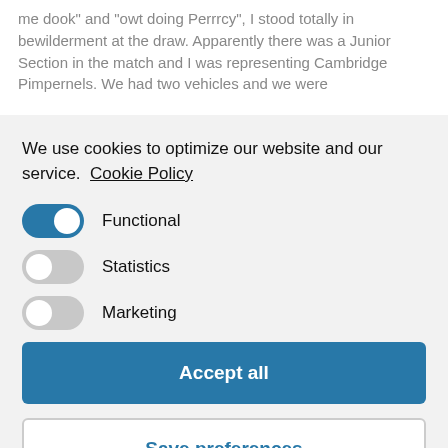me dook" and "owt doing Perrrcy", I stood totally in bewilderment at the draw. Apparently there was a Junior Section in the match and I was representing Cambridge Pimpernels. We had two vehicles and we were
We use cookies to optimize our website and our service.  Cookie Policy
[Figure (infographic): Cookie consent UI with three toggle switches: Functional (on/blue), Statistics (off/grey), Marketing (off/grey)]
Accept all
Save preferences
display of floats on a display board. I was absolutely chuffed and just